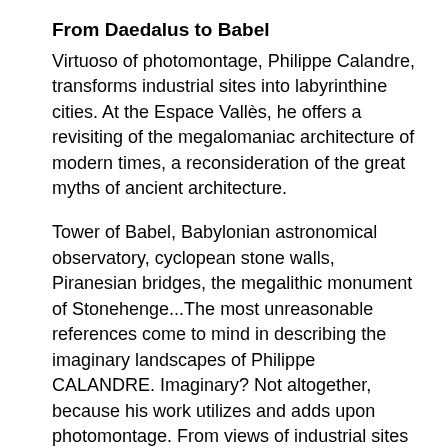From Daedalus to Babel
Virtuoso of photomontage, Philippe Calandre, transforms industrial sites into labyrinthine cities. At the Espace Vallès, he offers a revisiting of the megalomaniac architecture of modern times, a reconsideration of the great myths of ancient architecture.
Tower of Babel, Babylonian astronomical observatory, cyclopean stone walls, Piranesian bridges, the megalithic monument of Stonehenge...The most unreasonable references come to mind in describing the imaginary landscapes of Philippe CALANDRE. Imaginary? Not altogether, because his work utilizes and adds upon photomontage. From views of industrial sites taken by camera the artist creates digital collages on his computer